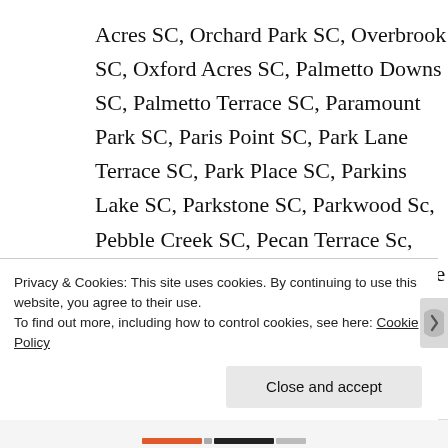Acres SC, Orchard Park SC, Overbrook SC, Oxford Acres SC, Palmetto Downs SC, Palmetto Terrace SC, Paramount Park SC, Paris Point SC, Park Lane Terrace SC, Park Place SC, Parkins Lake SC, Parkstone SC, Parkwood Sc, Pebble Creek SC, Pecan Terrace Sc, Peppertree SC, Piedmont Park SC, Pine Brook Forest SC, Pine
Privacy & Cookies: This site uses cookies. By continuing to use this website, you agree to their use.
To find out more, including how to control cookies, see here: Cookie Policy